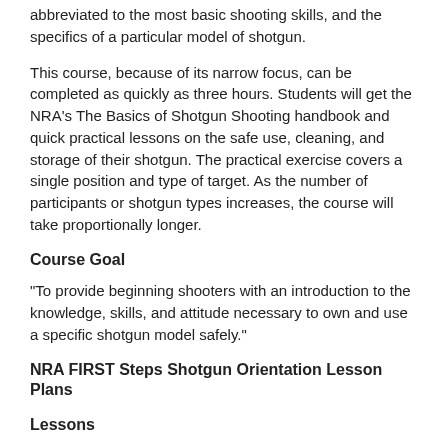abbreviated to the most basic shooting skills, and the specifics of a particular model of shotgun.
This course, because of its narrow focus, can be completed as quickly as three hours. Students will get the NRA's The Basics of Shotgun Shooting handbook and quick practical lessons on the safe use, cleaning, and storage of their shotgun. The practical exercise covers a single position and type of target. As the number of participants or shotgun types increases, the course will take proportionally longer.
Course Goal
“To provide beginning shooters with an introduction to the knowledge, skills, and attitude necessary to own and use a specific shotgun model safely.”
NRA FIRST Steps Shotgun Orientation Lesson Plans
Lessons
1.Introduction to Shotgun Safety, Parts, and Operation
2.Introduction to Ammunition and the Fundamentals of